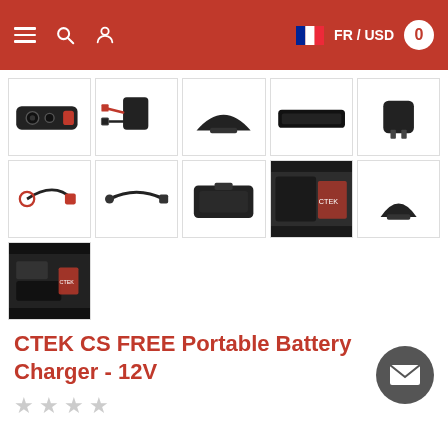Navigation bar with hamburger menu, search, user icons, FR / USD language selector, and cart badge showing 0
[Figure (photo): Grid of 11 product thumbnail images for CTEK CS FREE Portable Battery Charger accessories, arranged in 3 rows of 5, 5, 1]
CTEK CS FREE Portable Battery Charger - 12V
[Figure (other): Email/contact button (envelope icon in dark grey circle), positioned bottom right]
Star rating: 4 empty stars (no rating)